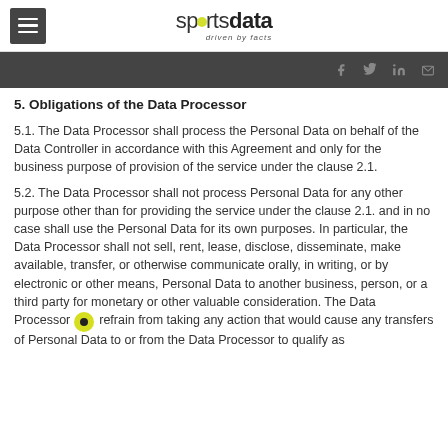sportsdata — driven by facts
social icons: facebook, twitter, linkedin, email
5. Obligations of the Data Processor
5.1. The Data Processor shall process the Personal Data on behalf of the Data Controller in accordance with this Agreement and only for the business purpose of provision of the service under the clause 2.1.
5.2. The Data Processor shall not process Personal Data for any other purpose other than for providing the service under the clause 2.1. and in no case shall use the Personal Data for its own purposes. In particular, the Data Processor shall not sell, rent, lease, disclose, disseminate, make available, transfer, or otherwise communicate orally, in writing, or by electronic or other means, Personal Data to another business, person, or a third party for monetary or other valuable consideration. The Data Processor refrain from taking any action that would cause any transfers of Personal Data to or from the Data Processor to qualify as